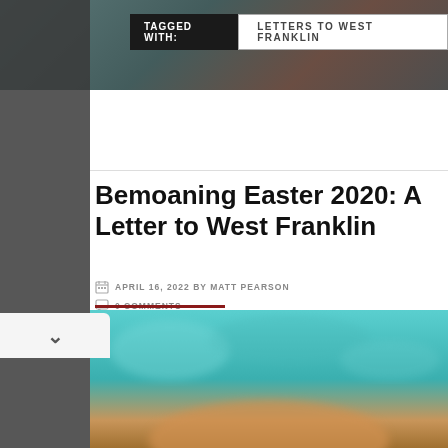TAGGED WITH: LETTERS TO WEST FRANKLIN
Bemoaning Easter 2020: A Letter to West Franklin
APRIL 16, 2022 BY MATT PEARSON
0 COMMENTS
[Figure (photo): Blurred teal and orange background photo, partially visible at bottom of page]